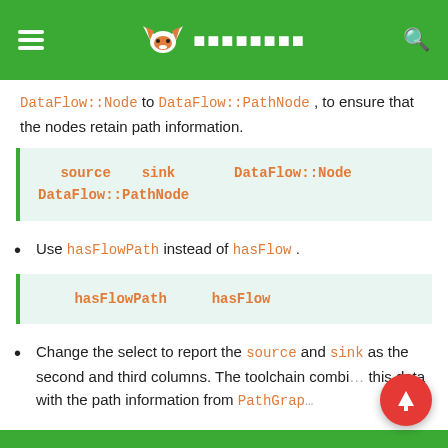[menu icon] [fox logo] [Japanese text] [search icon]
DataFlow::Node to DataFlow::PathNode , to ensure that the nodes retain path information.
[Figure (screenshot): Code block showing: [CJK] source [CJK] sink [CJK] DataFlow::Node [CJK] DataFlow::PathNode [CJK]]
Use hasFlowPath instead of hasFlow .
[Figure (screenshot): Code block showing: [CJK] hasFlowPath [CJK] hasFlow [CJK]]
Change the select to report the source and sink as the second and third columns. The toolchain combi... this data with the path information from PathGraph... build the paths...